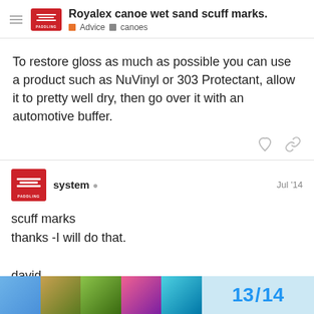Royalex canoe wet sand scuff marks. | Advice | canoes
To restore gloss as much as possible you can use a product such as NuVinyl or 303 Protectant, allow it to pretty well dry, then go over it with an automotive buffer.
system Jul '14
scuff marks
thanks -I will do that.

david
13 / 14